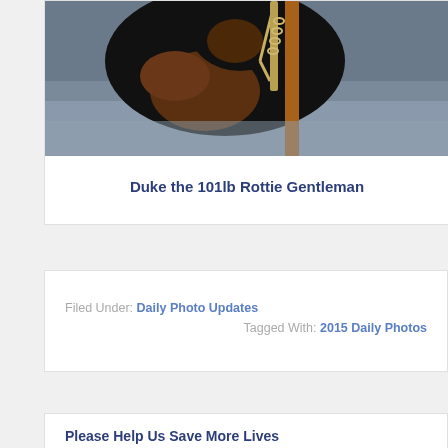[Figure (photo): A Rottweiler dog chained to a post, photographed from above/side angle. The dog is black and tan, looking down toward the ground. A metal chain is visible attached to a post or stake.]
Duke the 101lb Rottie Gentleman
Filed Under: Daily Photo Updates
Tagged With: 2015 Daily Photos
Please Help Us Save More Lives